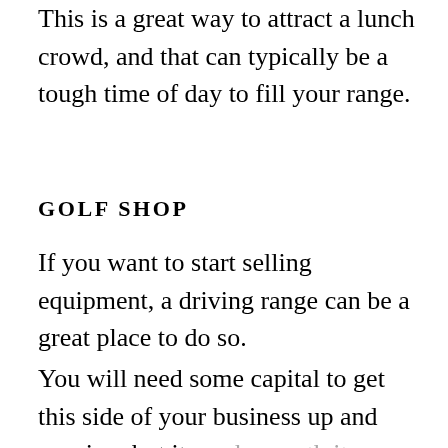This is a great way to attract a lunch crowd, and that can typically be a tough time of day to fill your range.
GOLF SHOP
If you want to start selling equipment, a driving range can be a great place to do so.
You will need some capital to get this side of your business up and running, but it can be worth it.